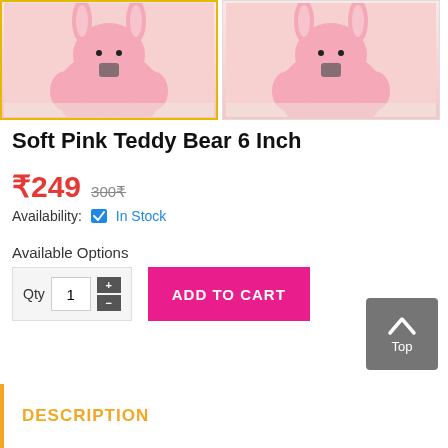[Figure (photo): Pink teddy bear / bunny plush toy product images shown side by side - left image with gold border (selected), right image without border]
Soft Pink Teddy Bear 6 Inch
₹249  300₹
Availability:  ✔ In Stock
Available Options
Qty 1 + - ADD TO CART
[Figure (screenshot): Top button - grey rounded square with up arrow and 'Top' label]
DESCRIPTION